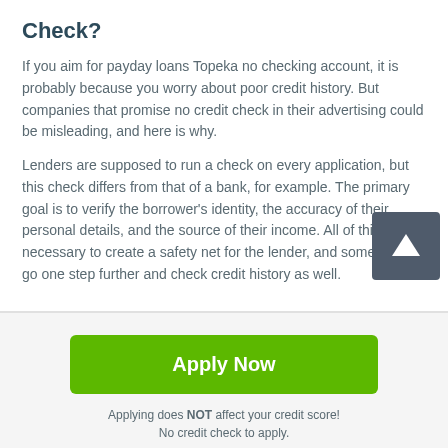Check?
If you aim for payday loans Topeka no checking account, it is probably because you worry about poor credit history. But companies that promise no credit check in their advertising could be misleading, and here is why.
Lenders are supposed to run a check on every application, but this check differs from that of a bank, for example. The primary goal is to verify the borrower's identity, the accuracy of their personal details, and the source of their income. All of this is necessary to create a safety net for the lender, and some of them go one step further and check credit history as well.
[Figure (other): Green Apply Now button]
Applying does NOT affect your credit score!
No credit check to apply.